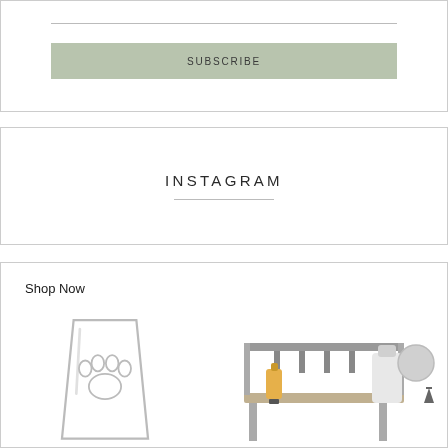SUBSCRIBE
INSTAGRAM
Shop Now
[Figure (photo): Glass cup with paw print etching]
[Figure (photo): Bottle labeling/capping machine with bottles]